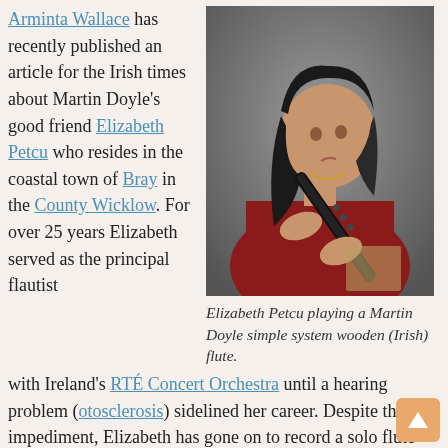Arminta Wallace has recently published an article for the Irish times about Martin Doyle's good friend Elizabeth Petcu who resides in the coastal town of Bray in the County Wicklow. For over 25 years Elizabeth served as the principal flautist
[Figure (photo): Elizabeth Petcu playing a dark wooden flute, wearing a red top, photographed against a grey background]
Elizabeth Petcu playing a Martin Doyle simple system wooden (Irish) flute.
with Ireland's RTÉ Concert Orchestra until a hearing problem (otosclerosis) sidelined her career. Despite this impediment, Elizabeth has gone on to record a solo flute music album, Just Me, and has formed the inspirational music ensemble Rune with Martin Doyle (flutes) and Deborah Armstrong